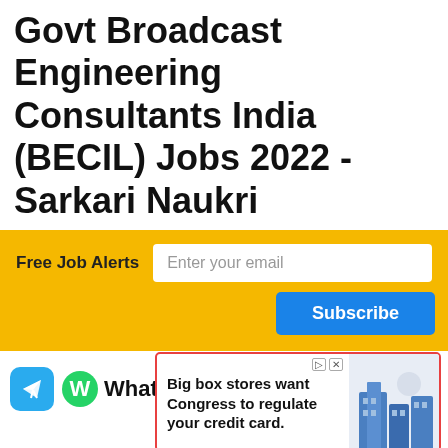Govt Broadcast Engineering Consultants India (BECIL) Jobs 2022 - Sarkari Naukri
Free Job Alerts   Enter your email   Subscribe
[Figure (infographic): Telegram icon, WhatsApp icon with label, Google Play store badge, YouTube Subscribe to our Channel banner, Join Job Alert Telegram Channel button]
[Figure (infographic): Advertisement banner: Big box stores want Congress to regulate your credit card. With illustration of buildings.]